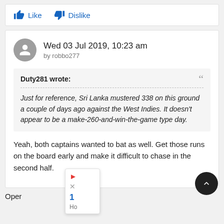[Figure (screenshot): Like and Dislike buttons with thumbs up and thumbs down icons in blue]
Wed 03 Jul 2019, 10:23 am
by robbo277
Duty281 wrote:
Just for reference, Sri Lanka mustered 338 on this ground a couple of days ago against the West Indies. It doesn't appear to be a make-260-and-win-the-game type day.
Yeah, both captains wanted to bat as well. Get those runs on the board early and make it difficult to chase in the second half.
Oper